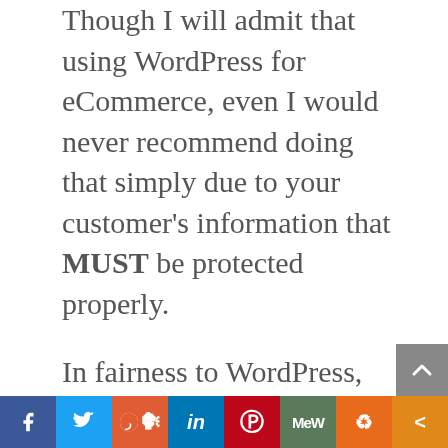Though I will admit that using WordPress for eCommerce, even I would never recommend doing that simply due to your customer's information that MUST be protected properly.
In fairness to WordPress, this CMS (Content Management System) was never intended to be used in doing eCommerce, and should NEVER be recommended for this type of use for the reason I have already stated.
I am suggests the following: "Yes, you will
[Figure (other): Social media share bar with buttons for Facebook, Twitter, Reddit, LinkedIn, Pinterest, MeWe, Mix, and a share icon]